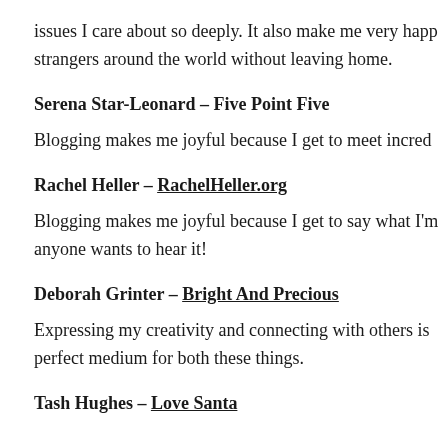issues I care about so deeply. It also make me very happ strangers around the world without leaving home.
Serena Star-Leonard – Five Point Five
Blogging makes me joyful because I get to meet incred
Rachel Heller – RachelHeller.org
Blogging makes me joyful because I get to say what I'm anyone wants to hear it!
Deborah Grinter – Bright And Precious
Expressing my creativity and connecting with others is perfect medium for both these things.
Tash Hughes – Love Santa